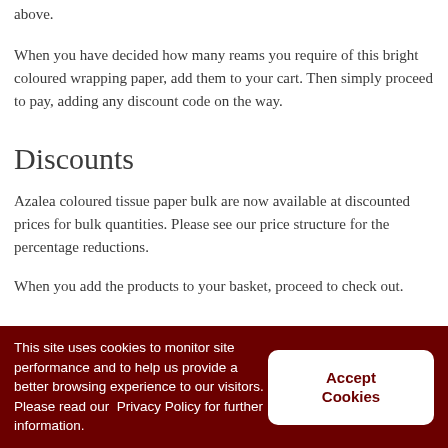above.
When you have decided how many reams you require of this bright coloured wrapping paper, add them to your cart. Then simply proceed to pay, adding any discount code on the way.
Discounts
Azalea coloured tissue paper bulk are now available at discounted prices for bulk quantities. Please see our price structure for the percentage reductions.
When you add the products to your basket, proceed to check out.
This site uses cookies to monitor site performance and to help us provide a better browsing experience to our visitors. Please read our  Privacy Policy for further information.